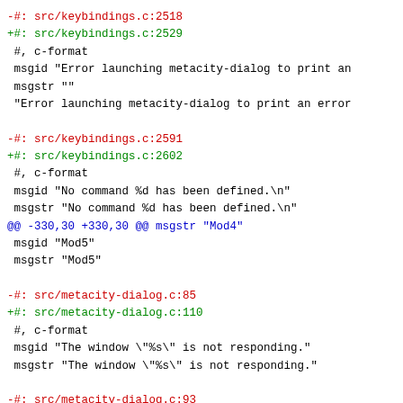-#: src/keybindings.c:2518
+#: src/keybindings.c:2529
 #, c-format
 msgid "Error launching metacity-dialog to print an
 msgstr ""
 "Error launching metacity-dialog to print an error
-#: src/keybindings.c:2591
+#: src/keybindings.c:2602
 #, c-format
 msgid "No command %d has been defined.\n"
 msgstr "No command %d has been defined.\n"
@@ -330,30 +330,30 @@ msgstr "Mod4"
 msgid "Mod5"
 msgstr "Mod5"
-#: src/metacity-dialog.c:85
+#: src/metacity-dialog.c:110
 #, c-format
 msgid "The window \"%s\" is not responding."
 msgstr "The window \"%s\" is not responding."
-#: src/metacity-dialog.c:93
+#: src/metacity-dialog.c:118
 msgid ""
 "Forcing this application to quit will cause you to
 msgstr ""
 "Forcing this application to quit will cause you to